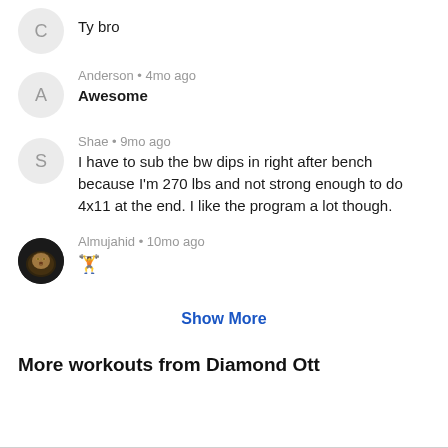C — Ty bro
Anderson • 4mo ago
Awesome
Shae • 9mo ago
I have to sub the bw dips in right after bench because I'm 270 lbs and not strong enough to do 4x11 at the end. I like the program a lot though.
Almujahid • 10mo ago
[emoji/image]
Show More
More workouts from Diamond Ott